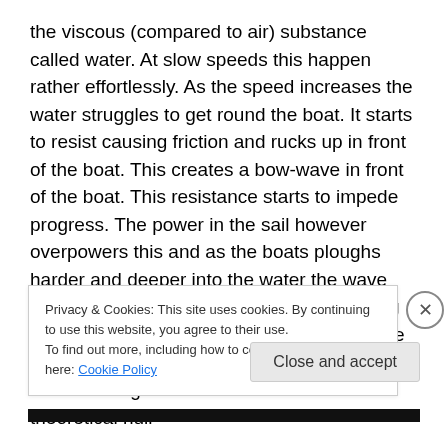the viscous (compared to air) substance called water. At slow speeds this happen rather effortlessly. As the speed increases the water struggles to get round the boat. It starts to resist causing friction and rucks up in front of the boat. This creates a bow-wave in front of the boat. This resistance starts to impede progress. The power in the sail however overpowers this and as the boats ploughs harder and deeper into the water the wave crashes past the boat breaking and foaming causing a very satisfying rushing sound. The white water speeds past the boat and out the back causing a wake. This is when the theoretical hull
Privacy & Cookies: This site uses cookies. By continuing to use this website, you agree to their use.
To find out more, including how to control cookies, see here: Cookie Policy
Close and accept